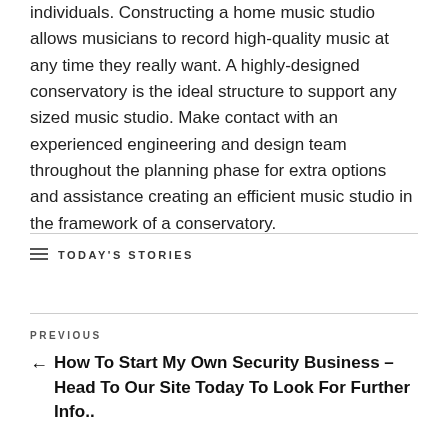individuals. Constructing a home music studio allows musicians to record high-quality music at any time they really want. A highly-designed conservatory is the ideal structure to support any sized music studio. Make contact with an experienced engineering and design team throughout the planning phase for extra options and assistance creating an efficient music studio in the framework of a conservatory.
TODAY'S STORIES
PREVIOUS
← How To Start My Own Security Business – Head To Our Site Today To Look For Further Info..